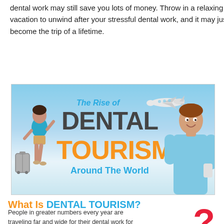dental work may still save you lots of money. Throw in a relaxing vacation to unwind after your stressful dental work, and it may just become the trip of a lifetime.
[Figure (infographic): Infographic titled 'The Rise of DENTAL TOURISM Around The World' with beach/sky background, a woman with luggage on the left, a dental nurse on the right, and an airplane in the upper right.]
What Is DENTAL TOURISM?
People in greater numbers every year are traveling far and wide for their dental work for the simple reason that